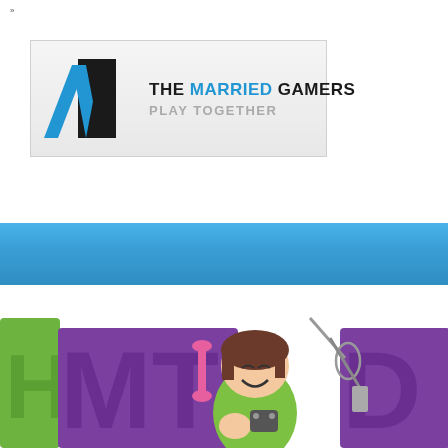»
[Figure (logo): The Married Gamers logo with stylized M letterform in blue and black, with tagline PLAY TOGETHER]
[Figure (illustration): Blue navigation bar banner]
[Figure (illustration): Cartoon female character holding cooking and gaming items, with colorful green and purple text letters in background spelling game title]